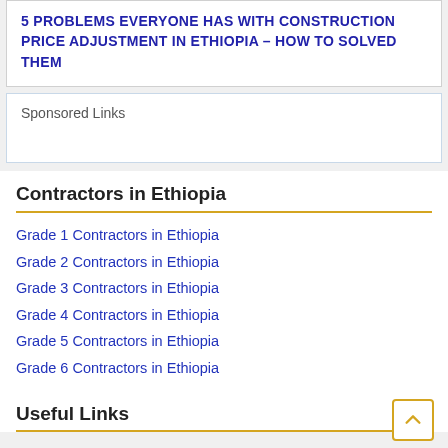5 PROBLEMS EVERYONE HAS WITH CONSTRUCTION PRICE ADJUSTMENT IN ETHIOPIA – HOW TO SOLVED THEM
Sponsored Links
Contractors in Ethiopia
Grade 1 Contractors in Ethiopia
Grade 2 Contractors in Ethiopia
Grade 3 Contractors in Ethiopia
Grade 4 Contractors in Ethiopia
Grade 5 Contractors in Ethiopia
Grade 6 Contractors in Ethiopia
Useful Links